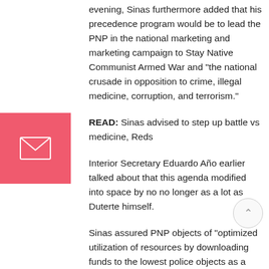evening, Sinas furthermore added that his precedence program would be to lead the PNP in the national marketing and marketing campaign to Stay Native Communist Armed War and “the national crusade in opposition to crime, illegal medicine, corruption, and terrorism.”
READ: Sinas advised to step up battle vs medicine, Reds
Interior Secretary Eduardo Año earlier talked about that this agenda modified into space by no no longer as a lot as Duterte himself.
Sinas assured PNP objects of “optimized utilization of resources by downloading funds to the lowest police objects as a key feature of a fiscal reform program that he vowed to position into motion along with the